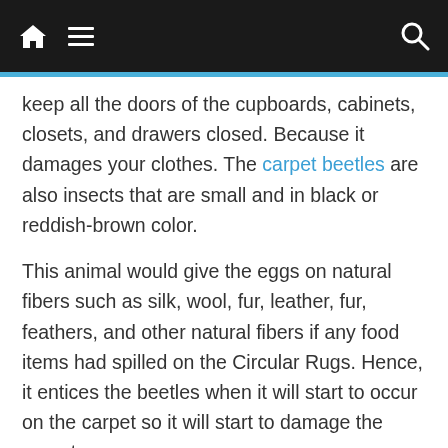Navigation bar with home icon, hamburger menu, and search icon
keep all the doors of the cupboards, cabinets, closets, and drawers closed. Because it damages your clothes. The carpet beetles are also insects that are small and in black or reddish-brown color.
This animal would give the eggs on natural fibers such as silk, wool, fur, leather, fur, feathers, and other natural fibers if any food items had spilled on the Circular Rugs. Hence, it entices the beetles when it will start to occur on the carpet so it will start to damage the carpet.
Sometimes the damage can be repaired, but when the deterioration of the carpet has extended due